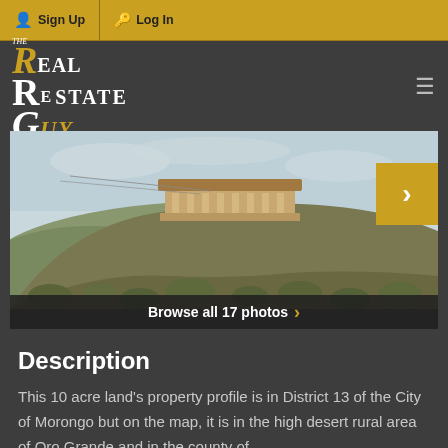Sign Up | Log In
[Figure (logo): The Real Estate Guy logo — stylized text with gold and white letters on dark background]
[Figure (photo): Outdoor desert hillside photo with a house/building with arched columns on top of a rocky hill, scrubby desert vegetation in the foreground, overcast sky. Navigation arrow on right side.]
Browse all 17 photos ›
Description
This 10 acre land's property profile is in District 13 of the City of Morongo but on the map, it is in the high desert rural area of Oro Grande and in the county of